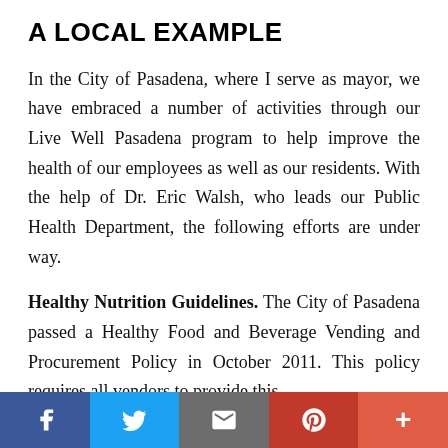A LOCAL EXAMPLE
In the City of Pasadena, where I serve as mayor, we have embraced a number of activities through our Live Well Pasadena program to help improve the health of our employees as well as our residents. With the help of Dr. Eric Walsh, who leads our Public Health Department, the following efforts are under way.
Healthy Nutrition Guidelines. The City of Pasadena passed a Healthy Food and Beverage Vending and Procurement Policy in October 2011. This policy requires all vendors to provide this
[Figure (infographic): Social media sharing bar with Facebook, Twitter, Email, Pinterest, and More buttons at the bottom of the page]